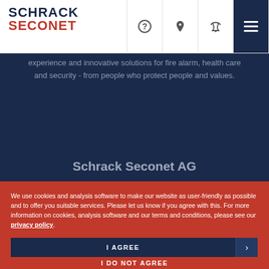[Figure (logo): Schrack Seconet logo — SCHRACK in dark navy, SECONET in red]
experience and innovative solutions for fire alarm, health care and security - from people who protect people and values.
Schrack Seconet AG
We use cookies and analysis software to make our website as user-friendly as possible and to offer you suitable services. Please let us know if you agree with this. For more information on cookies, analysis software and our terms and conditions, please see our privacy policy.
I AGREE
I DO NOT AGREE